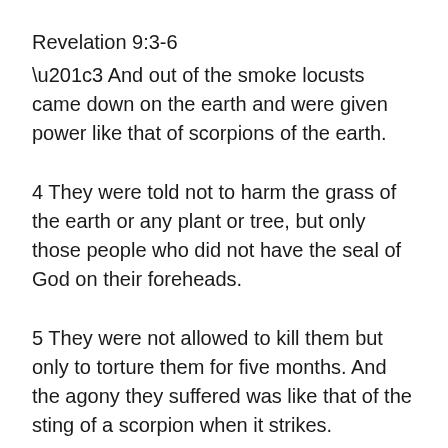Revelation 9:3-6
“3 And out of the smoke locusts came down on the earth and were given power like that of scorpions of the earth. 4 They were told not to harm the grass of the earth or any plant or tree, but only those people who did not have the seal of God on their foreheads. 5 They were not allowed to kill them but only to torture them for five months. And the agony they suffered was like that of the sting of a scorpion when it strikes. 6 During those days people will seek death but will not find it; they will long to die, but death will elude them.”